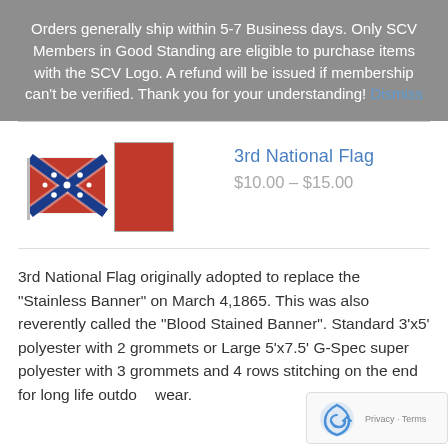Orders generally ship within 5-7 Business days. Only SCV Members in Good Standing are eligible to purchase items with the SCV Logo. A refund will be issued if membership can't be verified. Thank you for your understanding! Dismiss
[Figure (illustration): Confederate battle flag (small, on a stick) and a red rectangular flag image side by side as product images]
3rd National Flag
$10.00 – $15.00
3rd National Flag originally adopted to replace the "Stainless Banner" on March 4,1865. This was also reverently called the "Blood Stained Banner". Standard 3'x5' polyester with 2 grommets or Large 5'x7.5' G-Spec super polyester with 3 grommets and 4 rows stitching on the end for long life outdoor wear.